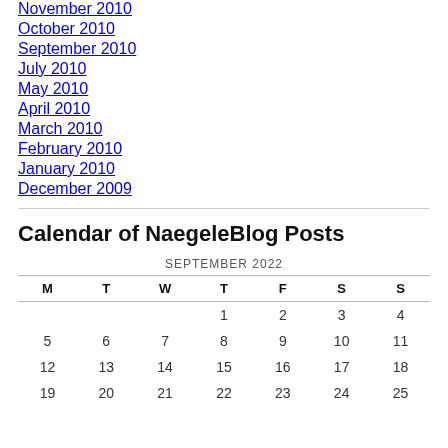November 2010
October 2010
September 2010
July 2010
May 2010
April 2010
March 2010
February 2010
January 2010
December 2009
Calendar of NaegeleBlog Posts
| M | T | W | T | F | S | S |
| --- | --- | --- | --- | --- | --- | --- |
|  |  |  | 1 | 2 | 3 | 4 |
| 5 | 6 | 7 | 8 | 9 | 10 | 11 |
| 12 | 13 | 14 | 15 | 16 | 17 | 18 |
| 19 | 20 | 21 | 22 | 23 | 24 | 25 |